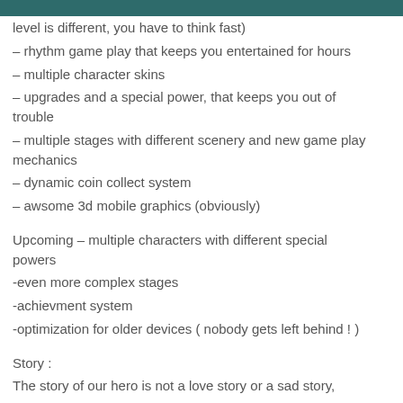level is different, you have to think fast)
– rhythm game play that keeps you entertained for hours
– multiple character skins
– upgrades and a special power, that keeps you out of trouble
– multiple stages with different scenery and new game play mechanics
– dynamic coin collect system
– awsome 3d mobile graphics (obviously)
Upcoming – multiple characters with different special powers
-even more complex stages
-achievment system
-optimization for older devices ( nobody gets left behind ! )
Story :
The story of our hero is not a love story or a sad story,